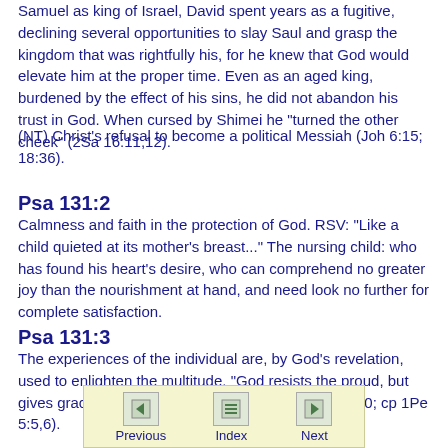Samuel as king of Israel, David spent years as a fugitive, declining several opportunities to slay Saul and grasp the kingdom that was rightfully his, for he knew that God would elevate him at the proper time. Even as an aged king, burdened by the effect of his sins, he did not abandon his trust in God. When cursed by Shimei he "turned the other cheek" (2Sa 16:11,12).
(NT) Christ's refusal to become a political Messiah (Joh 6:15; 18:36).
Psa 131:2
Calmness and faith in the protection of God. RSV: "Like a child quieted at its mother's breast..." The nursing child: who has found his heart's desire, who can comprehend no greater joy than the nourishment at hand, and need look no further for complete satisfaction.
Psa 131:3
The experiences of the individual are, by God's revelation, used to enlighten the multitude. "God resists the proud, but gives grace unto the humble" (Pro 3:34; Jam 4:6,7,10; cp 1Pe 5:5,6).
[Figure (other): Navigation bar with Previous, Index, and Next icons in a light yellow box]